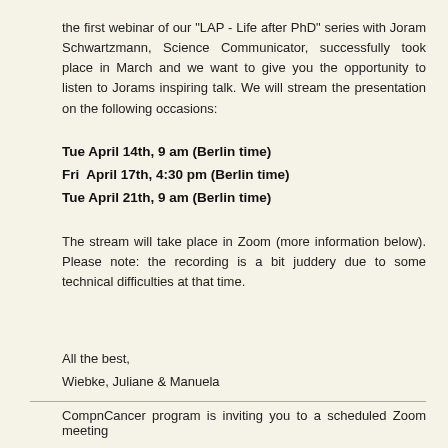the first webinar of our "LAP - Life after PhD" series with Joram Schwartzmann, Science Communicator, successfully took place in March and we want to give you the opportunity to listen to Jorams inspiring talk. We will stream the presentation on the following occasions:
Tue April 14th, 9 am (Berlin time)
Fri  April 17th, 4:30 pm (Berlin time)
Tue April 21th, 9 am (Berlin time)
The stream will take place in Zoom (more information below). Please note: the recording is a bit juddery due to some technical difficulties at that time.
All the best,
Wiebke, Juliane & Manuela
CompnCancer program is inviting you to a scheduled Zoom meeting